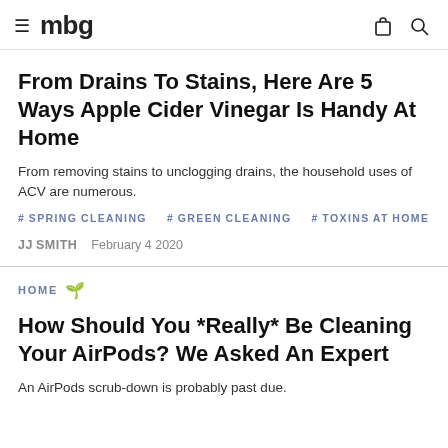≡ mbg [bag icon] [search icon]
From Drains To Stains, Here Are 5 Ways Apple Cider Vinegar Is Handy At Home
From removing stains to unclogging drains, the household uses of ACV are numerous.
#SPRING CLEANING  #GREEN CLEANING  #TOXINS AT HOME
JJ SMITH  February 4 2020
HOME 🌿
How Should You *Really* Be Cleaning Your AirPods? We Asked An Expert
An AirPods scrub-down is probably past due.